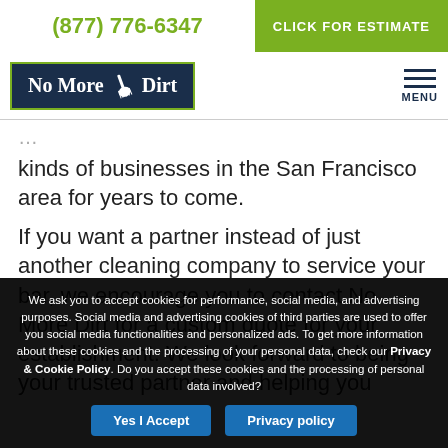(877) 776-6347 | CLICK FOR ESTIMATE
[Figure (logo): No More Dirt logo with broom icon on dark navy background with green border]
kinds of businesses in the San Francisco area for years to come.
If you want a partner instead of just another cleaning company to service your bar, we encourage you to contact No More Dirt for a custom quote for your establishment. We look forward to being your trusted partner and helping you
We ask you to accept cookies for performance, social media, and advertising purposes. Social media and advertising cookies of third parties are used to offer you social media functionalities and personalized ads. To get more information about these cookies and the processing of your personal data, check our Privacy & Cookie Policy. Do you accept these cookies and the processing of personal data involved?